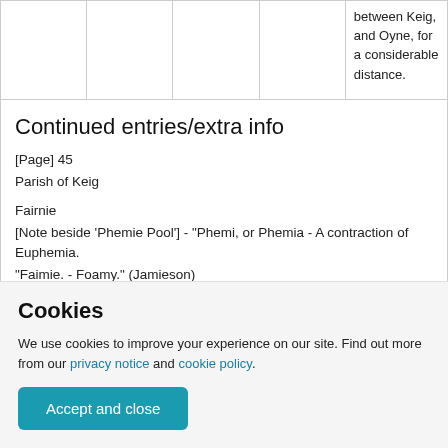|  |  |  |  |  |
| --- | --- | --- | --- | --- |
|  |  |  |  | between Keig, and Oyne, for a considerable distance. |
Continued entries/extra info
[Page] 45
Parish of Keig
Fairnie
[Note beside 'Phemie Pool'] - "Phemi, or Phemia - A contraction of Euphemia.
"Faimie. - Foamy." (Jamieson)
Cookies
We use cookies to improve your experience on our site. Find out more from our privacy notice and cookie policy.
Accept and close